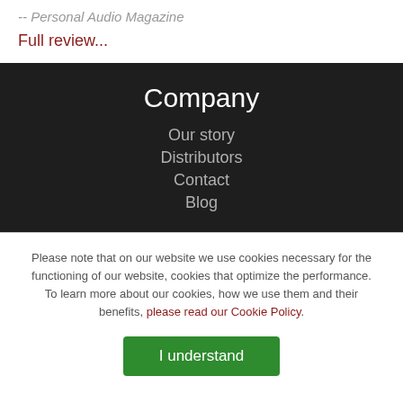-- Personal Audio Magazine
Full review...
Company
Our story
Distributors
Contact
Blog
Please note that on our website we use cookies necessary for the functioning of our website, cookies that optimize the performance. To learn more about our cookies, how we use them and their benefits, please read our Cookie Policy.
I understand